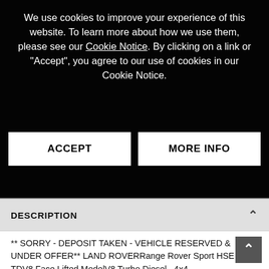We use cookies to improve your experience of this website. To learn more about how we use them, please see our Cookie Notice. By clicking on a link or "Accept", you agree to our use of cookies in our Cookie Notice.
ACCEPT
MORE INFO
DESCRIPTION
** SORRY - DEPOSIT TAKEN - VEHICLE RESERVED & UNDER OFFER** LAND ROVERRange Rover Sport HSE 3.6 TDV8 Face Lifted ModelV8 Turbo Diesel.. 4x4.. (3628cc)Automatic / Tiptronic TransmissionWith Paddle Shift Gears On Steering WheelFebruary 2010 RegStornoway Grey Metallic PaintworkEbony Grand Black Leather UpholsteryWhite Stitching On Seats + Stitched Door Cards + DashTop Factory Spec With HSE Styling + Sat Nav + DAB + Sunroof + More..Approx. 91,000 Genuine MilesDocumented Land Rover Dealer & Specialist History & Serviced At: 9,608 / 20,536 / 37,007 /